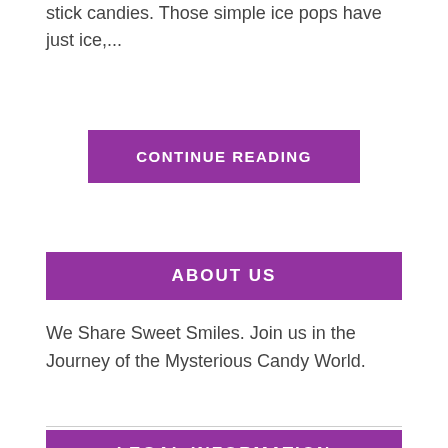stick candies. Those simple ice pops have just ice,...
CONTINUE READING
ABOUT US
We Share Sweet Smiles. Join us in the Journey of the Mysterious Candy World.
LEGAL INFORMATION
This site is owned and operated by Team @ Candy On Top. We are participants in the Amazon Services LLC Associates Program, an affiliate